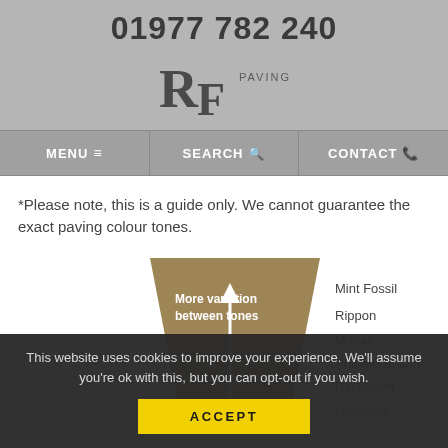01977 782 240
[Figure (logo): RF Paving logo with stylized R and F letters and PAVING text]
MENU  |  SEARCH  |  CONTACT
*Please note, this is a guide only. We cannot guarantee the exact paving colour tones.
[Figure (infographic): Trapezoid shape in tan/brown with upward arrow and text 'More variation between tones'. List of stone types: Mint Fossil, Rippon, Modak, Autumn Brown, Raj Green, Raveena, Sishoth Stone]
This website uses cookies to improve your experience. We'll assume you're ok with this, but you can opt-out if you wish.
ACCEPT